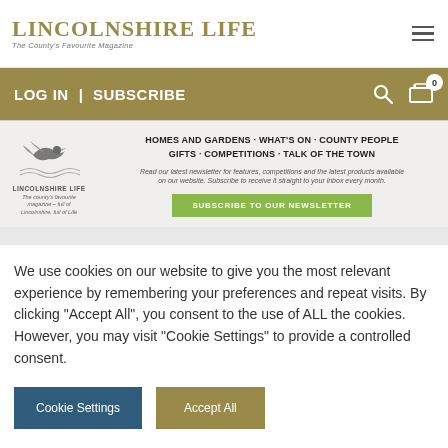LINCOLNSHIRE LIFE — The County's Favourite Magazine
LOG IN | SUBSCRIBE
[Figure (screenshot): Lincolnshire Life newsletter signup banner with bird logo, headings for HOMES AND GARDENS, WHAT'S ON, COUNTY PEOPLE, GIFTS, COMPETITIONS, TALK OF THE TOWN, subscribe button]
We use cookies on our website to give you the most relevant experience by remembering your preferences and repeat visits. By clicking "Accept All", you consent to the use of ALL the cookies. However, you may visit "Cookie Settings" to provide a controlled consent.